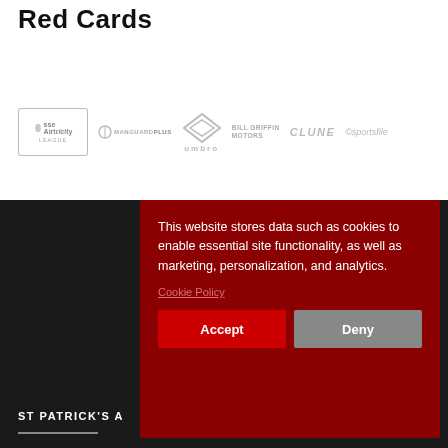Red Cards
[Figure (logo): Sponsor logos row: SSE Airtricity League, Manguard Plus, Umbro, Bill Griffin Motors, Clune, Sportsfile]
ST PATRICK'S A
Founded in 192
SSE Airtricity Le
Ireland.
LATEST POSTS
This website stores data such as cookies to enable essential site functionality, as well as marketing, personalization, and analytics.
Cookie Policy
Accept
Deny